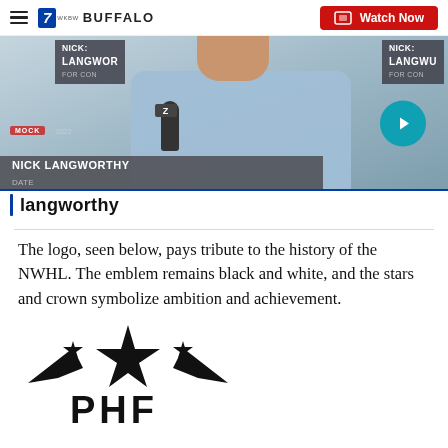7 WKBW BUFFALO — Watch Now
[Figure (screenshot): Video thumbnail showing Nick Langworthy being interviewed, with campaign signs reading 'NICK LANGWORTHY FOR CON' visible. A lower-third chyron reads 'NICK LANGWORTHY' and a search bar shows 'langworthy'. A teal next-arrow button is visible on the right side.]
The logo, seen below, pays tribute to the history of the NWHL. The emblem remains black and white, and the stars and crown symbolize ambition and achievement.
[Figure (logo): PHF logo — black stars and wing/crown shapes above the letters PHF in bold black text.]